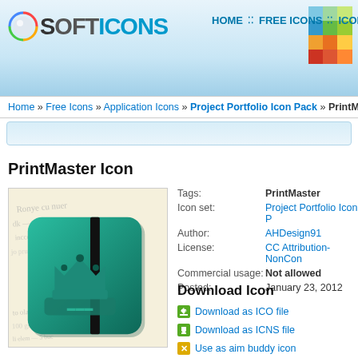SOFTICONS — HOME :: FREE ICONS :: ICON T...
[Figure (screenshot): Website header with SoftIcons logo, navigation links (HOME, FREE ICONS, ICON T...), and a colorful mosaic square graphic]
Home » Free Icons » Application Icons » Project Portfolio Icon Pack » PrintMa...
PrintMaster Icon
[Figure (illustration): PrintMaster icon — a teal/green notebook-style app icon with a crown symbol, set against a handwritten script paper background]
Tags: PrintMaster
Icon set: Project Portfolio Icon P...
Author: AHDesign91
License: CC Attribution-NonCon...
Commercial usage: Not allowed
Posted: January 23, 2012
Download Icon
Download as ICO file
Download as ICNS file
Use as aim buddy icon